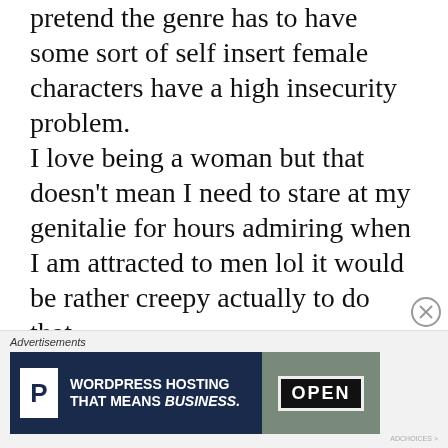pretend the genre has to have some sort of self insert female characters have a high insecurity problem. I love being a woman but that doesn't mean I need to stare at my genitalie for hours admiring when I am attracted to men lol it would be rather creepy actually to do that. Men have a lot of videogames and ecchi manga with all anime girls cast but no one points that out to men that they should have male
Advertisements
[Figure (other): Advertisement banner for WordPress Hosting with 'P' logo on dark navy background and text 'WORDPRESS HOSTING THAT MEANS BUSINESS.' alongside an image of an OPEN sign]